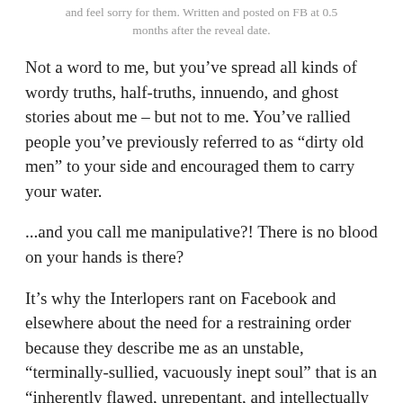and feel sorry for them. Written and posted on FB at 0.5 months after the reveal date.
Not a word to me, but you’ve spread all kinds of wordy truths, half-truths, innuendo, and ghost stories about me – but not to me. You’ve rallied people you’ve previously referred to as “dirty old men” to your side and encouraged them to carry your water.
...and you call me manipulative?! There is no blood on your hands is there?
It’s why the Interlopers rant on Facebook and elsewhere about the need for a restraining order because they describe me as an unstable, “terminally-sullied, vacuously inept soul” that is an “inherently flawed, unrepentant, and intellectually myopic wayward creature”?